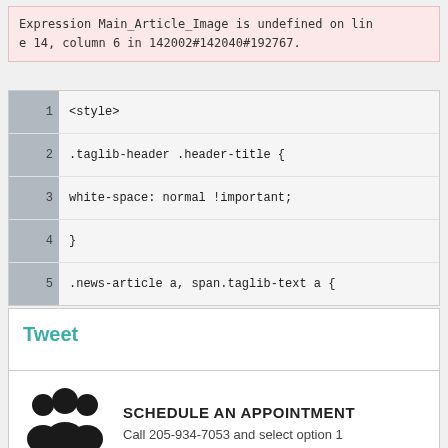Expression Main_Article_Image is undefined on line 14, column 6 in 142002#142040#192767.
| line | code |
| --- | --- |
| 1 | <style> |
| 2 | .taglib-header .header-title { |
| 3 | white-space: normal !important; |
| 4 | } |
| 5 | .news-article a, span.taglib-text a { |
Tweet
SCHEDULE AN APPOINTMENT
Call 205-934-7053 and select option 1